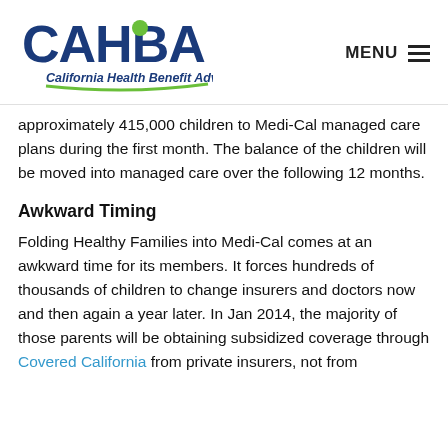[Figure (logo): CAHBA - California Health Benefit Advisers logo with blue lettering and green underline]
approximately 415,000 children to Medi-Cal managed care plans during the first month. The balance of the children will be moved into managed care over the following 12 months.
Awkward Timing
Folding Healthy Families into Medi-Cal comes at an awkward time for its members. It forces hundreds of thousands of children to change insurers and doctors now and then again a year later. In Jan 2014, the majority of those parents will be obtaining subsidized coverage through Covered California from private insurers, not from